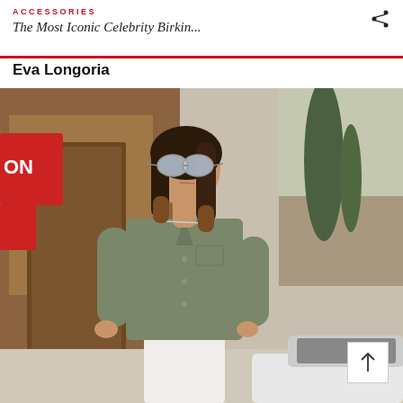ACCESSORIES
The Most Iconic Celebrity Birkin...
Eva Longoria
[Figure (photo): Eva Longoria standing outdoors wearing mirrored aviator sunglasses, an olive/khaki button-up shirt with rolled sleeves, and white jeans with a brown belt. She is posed in front of a wooden-framed storefront with greenery and a car partially visible. A white scroll-up navigation button is visible in the lower right corner of the photo.]